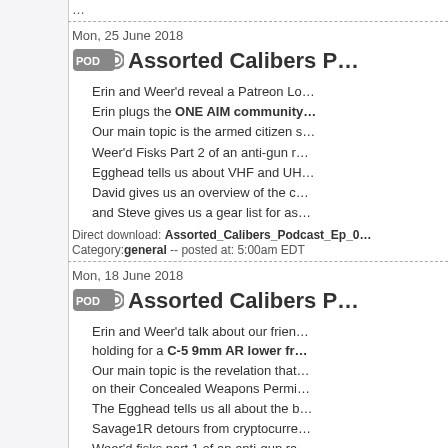Mon, 25 June 2018
Assorted Calibers P…
Erin and Weer'd reveal a Patreon Lo…
Erin plugs the ONE AIM community…
Our main topic is the armed citizen s…
Weer'd Fisks Part 2 of an anti-gun r…
Egghead tells us about VHF and UH…
David gives us an overview of the c…
and Steve gives us a gear list for as…
Direct download: Assorted_Calibers_Podcast_Ep_0…
Category: general -- posted at: 5:00am EDT
Mon, 18 June 2018
Assorted Calibers P…
Erin and Weer'd talk about our frien… holding for a C-5 9mm AR lower fr…
Our main topic is the revelation that… on their Concealed Weapons Permi…
The Egghead tells us all about the b…
Savage1R detours from cryptocurre…
Weer'd fisks part 1 of an anti-gun ra…
David talks about butting heads with…
and Steve talks about some hazards… really fast.
Direct download: Assorted_Calibers_Podcast_Ep_0…
Category: general -- posted at: 5:00am EDT
Mon, 11 June 2018
Assorted Calibers…